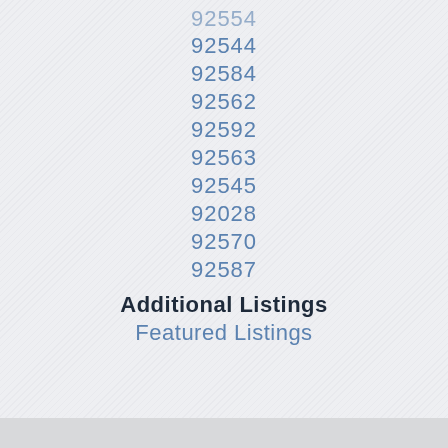92554
92544
92584
92562
92592
92563
92545
92028
92570
92587
Additional Listings
Featured Listings